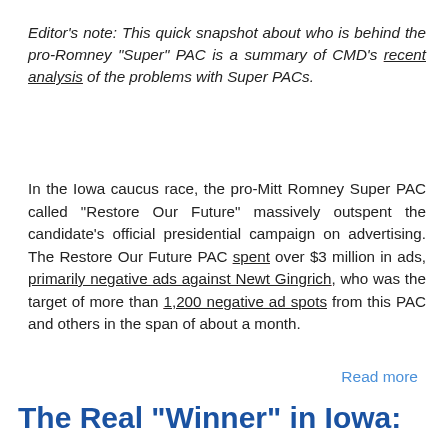Editor's note: This quick snapshot about who is behind the pro-Romney "Super" PAC is a summary of CMD's recent analysis of the problems with Super PACs.
In the Iowa caucus race, the pro-Mitt Romney Super PAC called "Restore Our Future" massively outspent the candidate's official presidential campaign on advertising. The Restore Our Future PAC spent over $3 million in ads, primarily negative ads against Newt Gingrich, who was the target of more than 1,200 negative ad spots from this PAC and others in the span of about a month.
Read more
The Real "Winner" in Iowa: